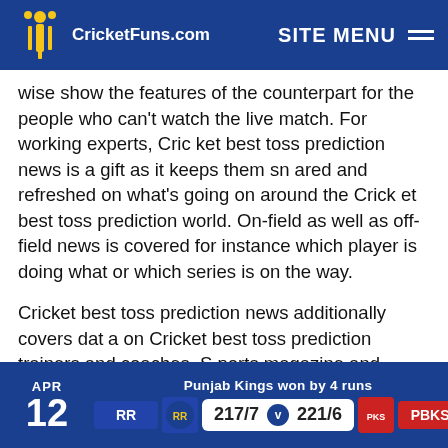CricketFuns.com — SITE MENU
wise show the features of the counterpart for the people who can't watch the live match. For working experts, Cricket best toss prediction news is a gift as it keeps them snared and refreshed on what's going on around the Cricket best toss prediction world. On-field as well as off-field news is covered for instance which player is doing what or which series is on the way.
Cricket best toss prediction news additionally covers data on Cricket best toss prediction trainers and coaches. Sports magazine and diaries have a full inclusion of most recent Cricket best toss prediction refreshes. Cricket TOP
APR 12  RR  217/7 v 221/6  PBKS  Punjab Kings won by 4 runs